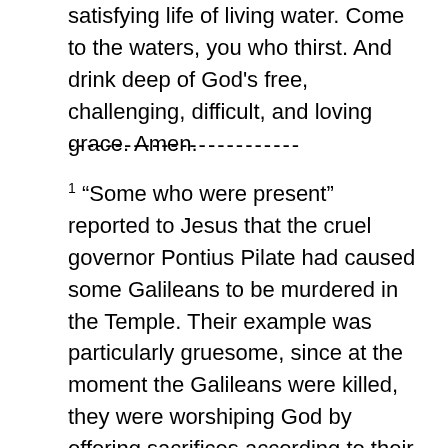satisfying life of living water. Come to the waters, you who thirst. And drink deep of God's free, challenging, difficult, and loving grace. Amen.
-------------------------
1 “Some who were present” reported to Jesus that the cruel governor Pontius Pilate had caused some Galileans to be murdered in the Temple. Their example was particularly gruesome, since at the moment the Galileans were killed, they were worshiping God by offering sacrifices according to their Jewish religious law. Those making the report were likely hoping Jesus would offer some explanation of why bad things happen to ordinary people—in this case, even in God’s house. The “sin and calamity” issue involves a presumption that an extraordinary tragedy in some way must signify extraordinary guilt. It assumes that a victim must have done something terrible for God to allow such tragedy to